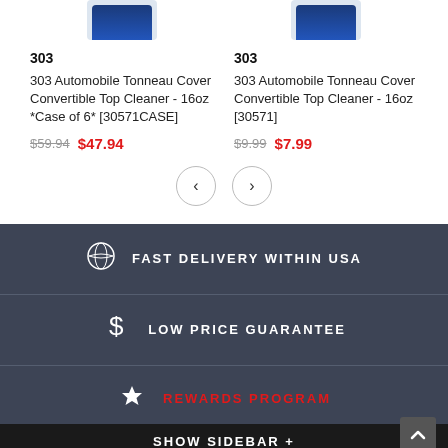[Figure (photo): Product image of 303 Automobile Tonneau Cover Convertible Top Cleaner bottle (left product)]
[Figure (photo): Product image of 303 Automobile Tonneau Cover Convertible Top Cleaner bottle (right product)]
303
303 Automobile Tonneau Cover Convertible Top Cleaner - 16oz *Case of 6* [30571CASE]
$59.94  $47.94
303
303 Automobile Tonneau Cover Convertible Top Cleaner - 16oz [30571]
$9.99  $7.99
FAST DELIVERY WITHIN USA
LOW PRICE GUARANTEE
REWARDS PROGRAM
SHOW SIDEBAR +